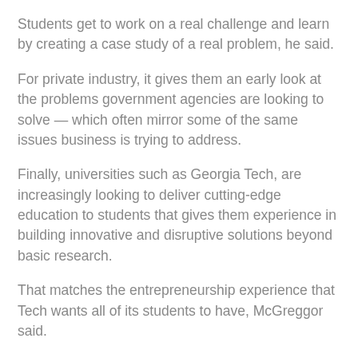Students get to work on a real challenge and learn by creating a case study of a real problem, he said.
For private industry, it gives them an early look at the problems government agencies are looking to solve — which often mirror some of the same issues business is trying to address.
Finally, universities such as Georgia Tech, are increasingly looking to deliver cutting-edge education to students that gives them experience in building innovative and disruptive solutions beyond basic research.
That matches the entrepreneurship experience that Tech wants all of its students to have, McGreggor said.
"We're trying to create an armada of entrepreneurial students and we want every student at Georgia Tech to have that entrepreneurial experience before they graduate," McGreggor